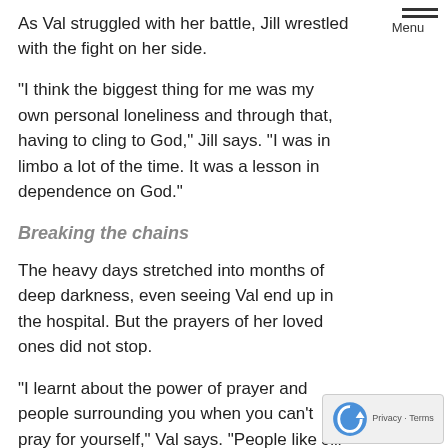As Val struggled with her battle, Jill wrestled with the fight on her side.
Menu
“I think the biggest thing for me was my own personal loneliness and through that, having to cling to God,” Jill says. “I was in limbo a lot of the time. It was a lesson in dependence on God.”
Breaking the chains
The heavy days stretched into months of deep darkness, even seeing Val end up in the hospital. But the prayers of her loved ones did not stop.
“I learnt about the power of prayer and people surrounding you when you can’t pray for yourself,” Val says. “People like Jill were still praying for me and speaking hope and encouragement into my life, even though I couldn’t see that at the time. Having people do that for you is powerful